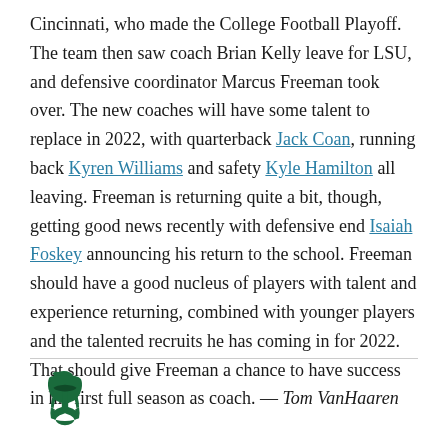Cincinnati, who made the College Football Playoff. The team then saw coach Brian Kelly leave for LSU, and defensive coordinator Marcus Freeman took over. The new coaches will have some talent to replace in 2022, with quarterback Jack Coan, running back Kyren Williams and safety Kyle Hamilton all leaving. Freeman is returning quite a bit, though, getting good news recently with defensive end Isaiah Foskey announcing his return to the school. Freeman should have a good nucleus of players with talent and experience returning, combined with younger players and the talented recruits he has coming in for 2022. That should give Freeman a chance to have success in his first full season as coach. — Tom VanHaaren
[Figure (logo): Michigan State Spartans helmet logo in dark green]